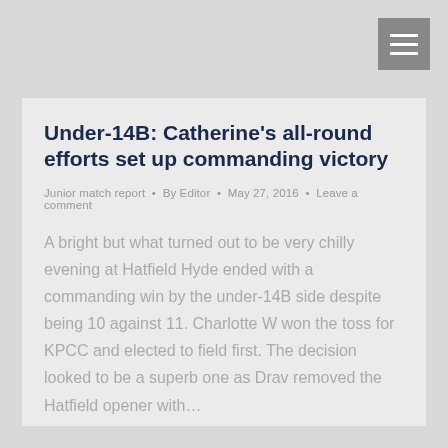Under-14B: Catherine's all-round efforts set up commanding victory
Junior match report • By Editor • May 27, 2016 • Leave a comment
A bright but what turned out to be very chilly evening at Hatfield Hyde ended with a commanding win by the under-14B side despite being 10 against 11. Charlotte W won the toss for KPCC and elected to field first. The decision looked to be a superb one as Drav removed the Hatfield opener with…